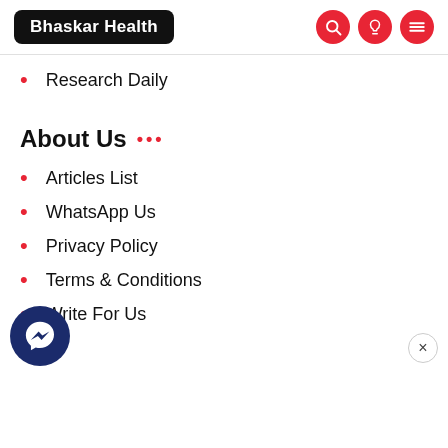Bhaskar Health
Research Daily
About Us
Articles List
WhatsApp Us
Privacy Policy
Terms & Conditions
Write For Us